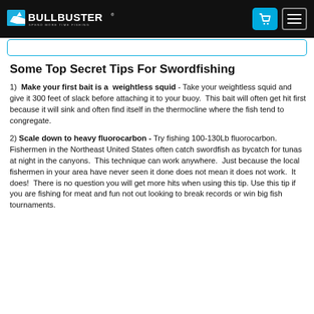BULLBUSTER - SPEND MORE TIME FISHING
Some Top Secret Tips For Swordfishing
1) Make your first bait is a weightless squid - Take your weightless squid and give it 300 feet of slack before attaching it to your buoy. This bait will often get hit first because it will sink and often find itself in the thermocline where the fish tend to congregate.
2) Scale down to heavy fluorocarbon - Try fishing 100-130Lb fluorocarbon. Fishermen in the Northeast United States often catch swordfish as bycatch for tunas at night in the canyons. This technique can work anywhere. Just because the local fishermen in your area have never seen it done does not mean it does not work. It does! There is no question you will get more hits when using this tip. Use this tip if you are fishing for meat and fun not out looking to break records or win big fish tournaments.